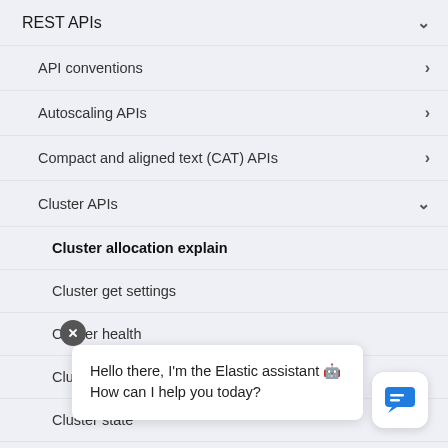REST APIs
API conventions
Autoscaling APIs
Compact and aligned text (CAT) APIs
Cluster APIs
Cluster allocation explain
Cluster get settings
Cluster health
Cluster reroute
Cluster state
Cluster sta...
Cluster upc...
Nodes fea...
Hello there, I'm the Elastic assistant 🤖 How can I help you today?